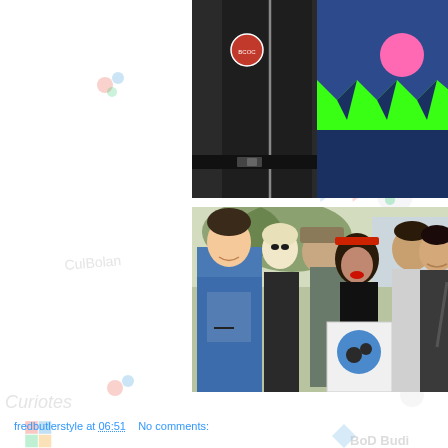[Figure (photo): Two people from torso down, one wearing black jacket with badge and black belt, the other wearing a blue costume with neon green triangular teeth pattern and pink circle on dark fabric]
[Figure (photo): Group photo of six people smiling, one woman in center holding a sign/poster with a blue circular design, people dressed in various outfits including a man in blue vest on left and woman with retro hair and makeup in center]
fredbutlerstyle at 06:51  No comments: